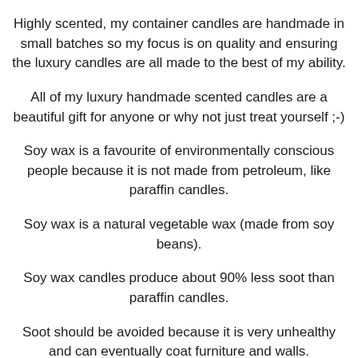Highly scented, my container candles are handmade in small batches so my focus is on quality and ensuring the luxury candles are all made to the best of my ability.
All of my luxury handmade scented candles are a beautiful gift for anyone or why not just treat yourself ;-)
Soy wax is a favourite of environmentally conscious people because it is not made from petroleum, like paraffin candles.
Soy wax is a natural vegetable wax (made from soy beans).
Soy wax candles produce about 90% less soot than paraffin candles.
Soot should be avoided because it is very unhealthy and can eventually coat furniture and walls.